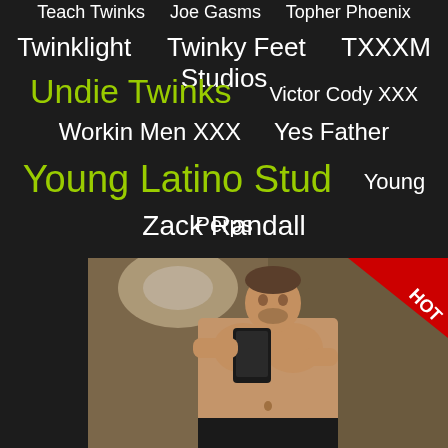Teach Twinks   Joe Gasms   Topher Phoenix
Twinklight   Twinky Feet   TXXXM Studios
Undie Twinks   Victor Cody XXX
Workin Men XXX   Yes Father
Young Latino Stud   Young Perps
Zack Randall
[Figure (photo): Shirtless man taking mirror selfie with phone, bathroom setting, HOT badge in top right corner]